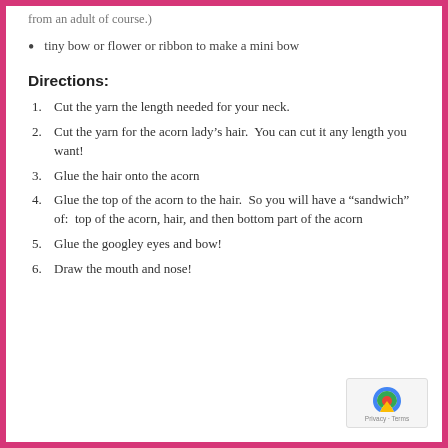from an adult of course.)
tiny bow or flower or ribbon to make a mini bow
Directions:
1. Cut the yarn the length needed for your neck.
2. Cut the yarn for the acorn lady's hair.  You can cut it any length you want!
3. Glue the hair onto the acorn
4. Glue the top of the acorn to the hair.  So you will have a “sandwich” of:  top of the acorn, hair, and then bottom part of the acorn
5. Glue the googley eyes and bow!
6. Draw the mouth and nose!